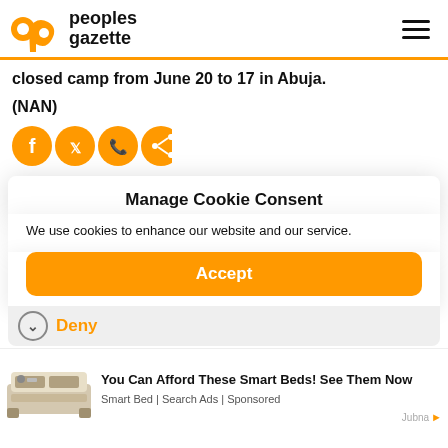peoples gazette
closed camp from June 20 to 17 in Abuja.
(NAN)
[Figure (other): Four orange circular social share icons (Facebook, Twitter, WhatsApp, Share)]
Manage Cookie Consent
We use cookies to enhance our website and our service.
Accept
Deny
[Figure (photo): Smart bed product photo showing a large modern bed with built-in features]
You Can Afford These Smart Beds! See Them Now
Smart Bed | Search Ads | Sponsored